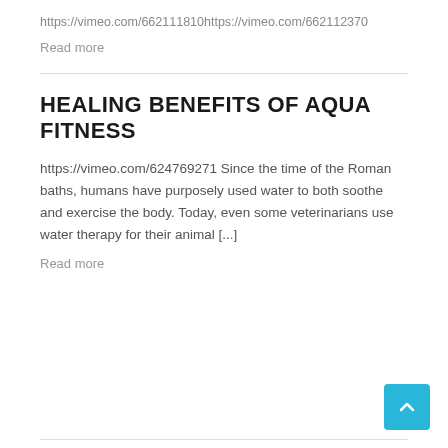https://vimeo.com/662111810https://vimeo.com/662112370
Read more
HEALING BENEFITS OF AQUA FITNESS
https://vimeo.com/624769271 Since the time of the Roman baths, humans have purposely used water to both soothe and exercise the body. Today, even some veterinarians use water therapy for their animal [...]
Read more